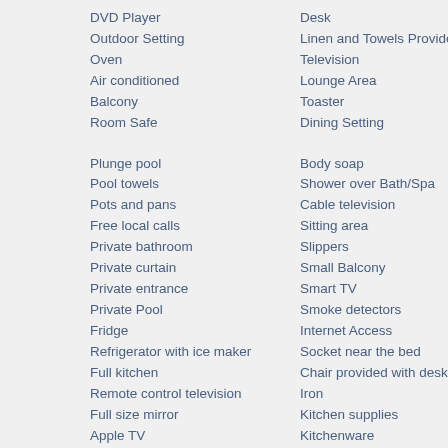DVD Player
Outdoor Setting
Oven
Air conditioned
Balcony
Room Safe
Plunge pool
Pool towels
Pots and pans
Free local calls
Private bathroom
Private curtain
Private entrance
Private Pool
Fridge
Refrigerator with ice maker
Full kitchen
Remote control television
Full size mirror
Apple TV
Bathroom
Bathroom amenities
High ceilings
Desk
Linen and Towels Provided
Television
Lounge Area
Toaster
Dining Setting
Body soap
Shower over Bath/Spa
Cable television
Sitting area
Slippers
Small Balcony
Smart TV
Smoke detectors
Internet Access
Socket near the bed
Chair provided with desk
Iron
Kitchen supplies
Kitchenware
Lamp
Tea/Coffee Maker
Conditioner